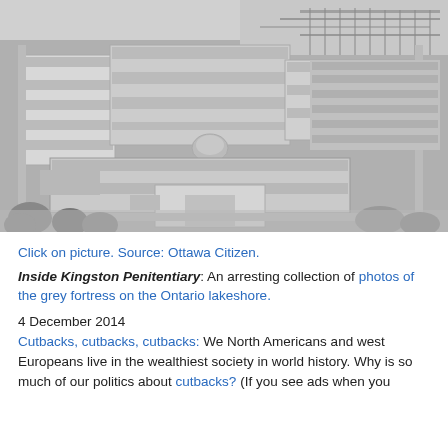[Figure (photo): Aerial black-and-white photograph of Kingston Penitentiary, a large stone fortress complex on the Ontario lakeshore, with a marina visible to the right and trees in the foreground.]
Click on picture. Source: Ottawa Citizen.
Inside Kingston Penitentiary: An arresting collection of photos of the grey fortress on the Ontario lakeshore.
4 December 2014
Cutbacks, cutbacks, cutbacks: We North Americans and west Europeans live in the wealthiest society in world history. Why is so much of our politics about cutbacks? (If you see ads when you